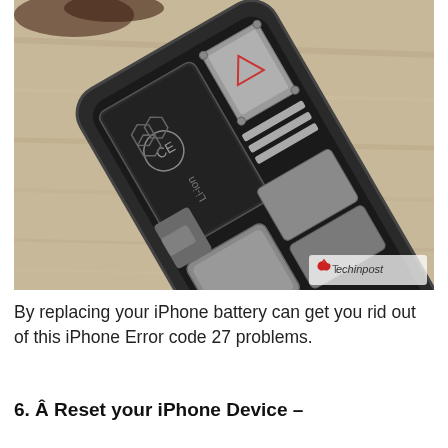[Figure (photo): An iPhone with its back opened showing internal components including the Li-ion battery, metal brackets, and circuit components, laid on a wooden surface. A watermark reads 'Techinpost' with a red logo in the bottom right corner.]
By replacing your iPhone battery can get you rid out of this iPhone Error code 27 problems.
6. Â Reset your iPhone Device –